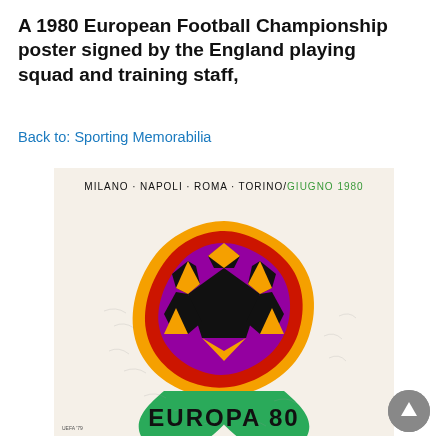A 1980 European Football Championship poster signed by the England playing squad and training staff,
Back to: Sporting Memorabilia
[Figure (photo): 1980 European Football Championship official poster showing a stylized soccer ball designed as a flower with black pentagon panels outlined in purple, red, and orange, green leaves at the bottom, text 'MILANO · NAPOLI · ROMA · TORINO/GIUGNO 1980' at top, and 'EUROPA 80' at the bottom. The poster shows signatures of the England playing squad and training staff.]